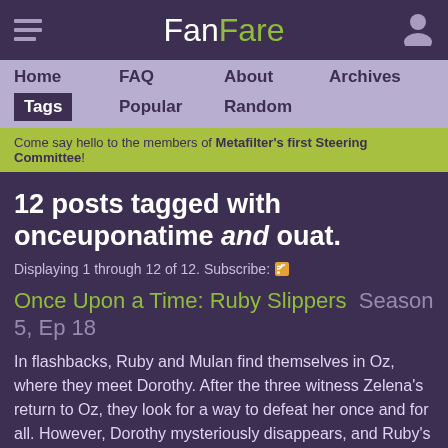FanFare
Home   FAQ   About   Archives   Tags   Popular   Random
Come say hello to the members of Metafilter's first Steering Committee!
12 posts tagged with onceuponatime and ouat.
Displaying 1 through 12 of 12. Subscribe:
Once Upon a Time: Ruby Slippers  Season 5, Ep 18
In flashbacks, Ruby and Mulan find themselves in Oz, where they meet Dorothy. After the three witness Zelena’s return to Oz, they look for a way to defeat her once and for all. However, Dorothy mysteriously disappears, and Ruby’s search for her new friend lands her in the Underworld.